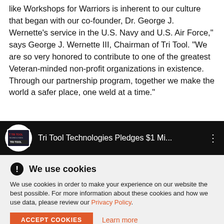like Workshops for Warriors is inherent to our culture that began with our co-founder, Dr. George J. Wernette's service in the U.S. Navy and U.S. Air Force," says George J. Wernette III, Chairman of Tri Tool. "We are so very honored to contribute to one of the greatest Veteran-minded non-profit organizations in existence. Through our partnership program, together we make the world a safer place, one weld at a time."
[Figure (screenshot): YouTube-style video thumbnail bar showing Tri Tool Technologies logo and title 'Tri Tool Technologies Pledges $1 Mi...' with three-dot menu icon on dark background]
We use cookies
We use cookies in order to make your experience on our website the best possible. For more information about these cookies and how we use data, please review our Privacy Policy.
ACCEPT COOKIES   Learn more